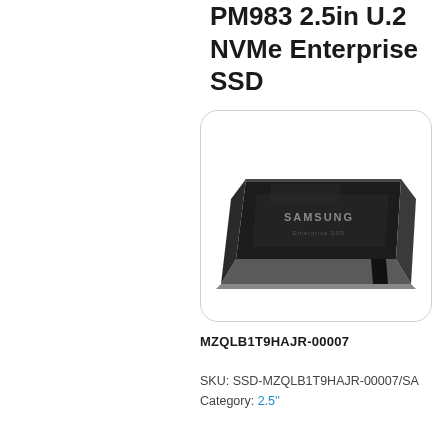PM983 2.5in U.2 NVMe Enterprise SSD
[Figure (photo): Samsung PM983 2.5in U.2 NVMe Enterprise SSD product photo — a dark metallic rectangular SSD drive shown at an angle with Samsung branding on the label]
MZQLB1T9HAJR-00007
SKU: SSD-MZQLB1T9HAJR-00007/SA
Category: 2.5''